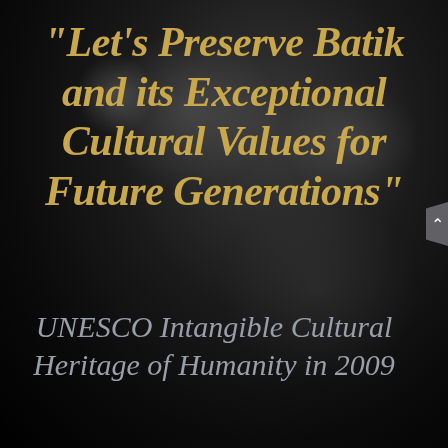“Let’s Preserve Batik and its Exceptional Cultural Values for Future Generations”
UNESCO Intangible Cultural Heritage of Humanity in 2009